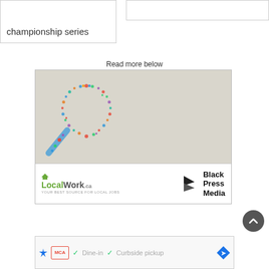championship series
Read more below
[Figure (illustration): Advertisement for LocalWork.ca featuring a magnifying glass made of colorful social media and job-related icons, with LocalWork.ca logo and Black Press Media logo at the bottom]
[Figure (screenshot): Advertisement banner showing McDonald's logo with check marks for Dine-in and Curbside pickup options]